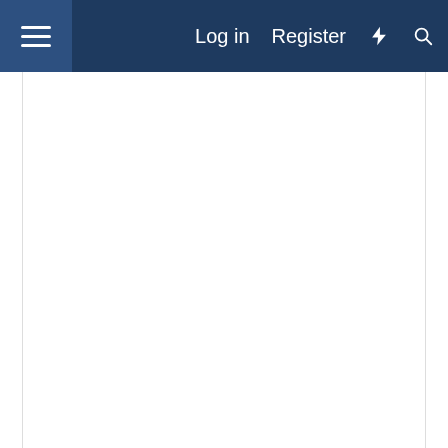Log in  Register
[Figure (screenshot): White blank content area / advertisement space]
Dec 7, 2021   #132
joelkfla
Engineer
Zack said:
I'm not an AGR member yet